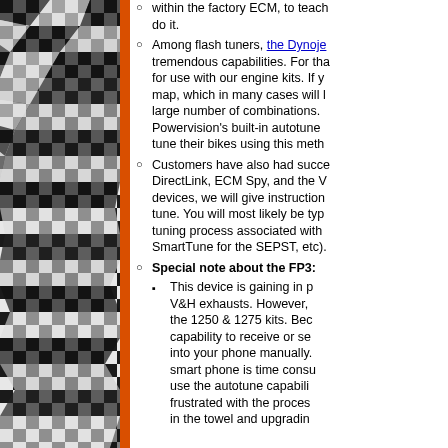[Figure (photo): Black and white checkered racing flag photo with orange vertical bar on right edge]
within the factory ECM, to teach do it.
Among flash tuners, the Dynoje tremendous capabilities. For tha for use with our engine kits. If y map, which in many cases will la large number of combinations. Powervision's built-in autotune tune their bikes using this meth
Customers have also had succe DirectLink, ECM Spy, and the V devices, we will give instruction tune. You will most likely be typ tuning process associated with SmartTune for the SEPST, etc).
Special note about the FP3:
This device is gaining in p V&H exhausts. However, the 1250 & 1275 kits. Bec capability to receive or se into your phone manually. smart phone is time consu use the autotune capabili frustrated with the proces in the towel and upgradin